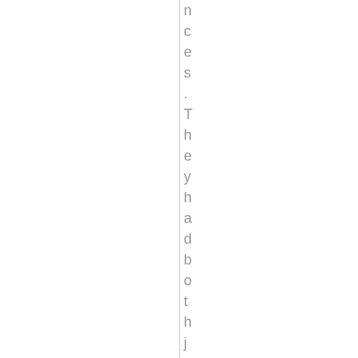nces. They had both just gradu